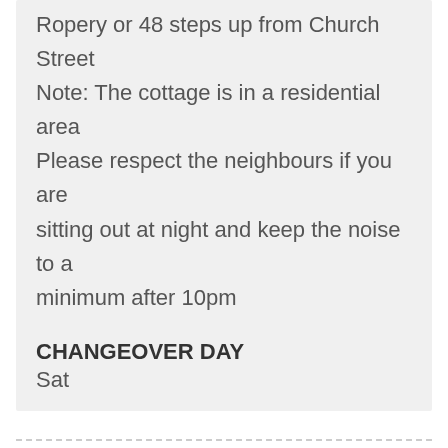Ropery or 48 steps up from Church Street
Note: The cottage is in a residential area
Please respect the neighbours if you are sitting out at night and keep the noise to a minimum after 10pm
CHANGEOVER DAY
Sat
Approximate Location
[Figure (map): Map showing approximate location with zoom button and a popup thumbnail]